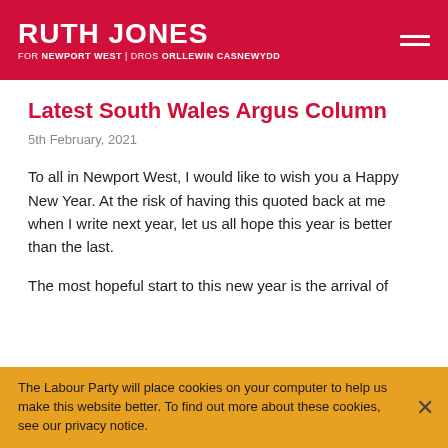RUTH JONES FOR NEWPORT WEST | DROS ORLLEWIN CASNEWYDD
Latest South Wales Argus Column
5th February, 2021
To all in Newport West, I would like to wish you a Happy New Year. At the risk of having this quoted back at me when I write next year, let us all hope this year is better than the last.
The most hopeful start to this new year is the arrival of
The Labour Party will place cookies on your computer to help us make this website better. To find out more about these cookies, see our privacy notice.